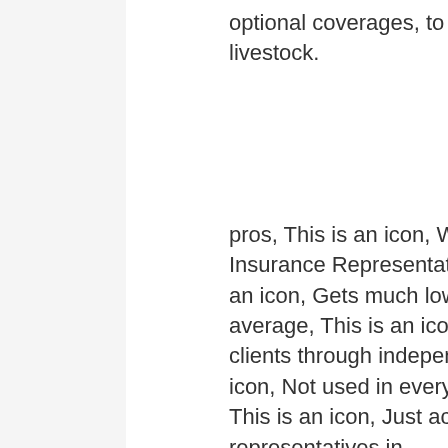optional coverages, to secure detached farm buildings and livestock.
pros, This is an icon, Won the 2019 J.D. Power U.S. Independent Insurance Representative Complete Satisfaction Award, This is an icon, Gets much lower complaints compared to the national average, This is an icon, Cultivates a long-lasting relationship for clients through independent insurance agentscons, This is an icon, Not used in every state, This is an icon, No online quoting, This is an icon, Just accessible from particular independent representatives in